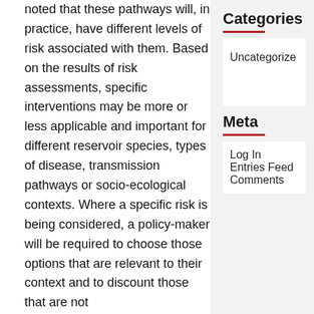noted that these pathways will, in practice, have different levels of risk associated with them. Based on the results of risk assessments, specific interventions may be more or less applicable and important for different reservoir species, types of disease, transmission pathways or socio-ecological contexts. Where a specific risk is being considered, a policy-maker will be required to choose those options that are relevant to their context and to discount those that are not
Categories
Uncategorized
Meta
Log In
Entries Feed
Comments